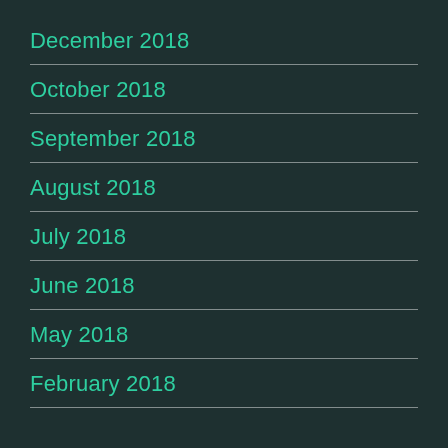December 2018
October 2018
September 2018
August 2018
July 2018
June 2018
May 2018
February 2018